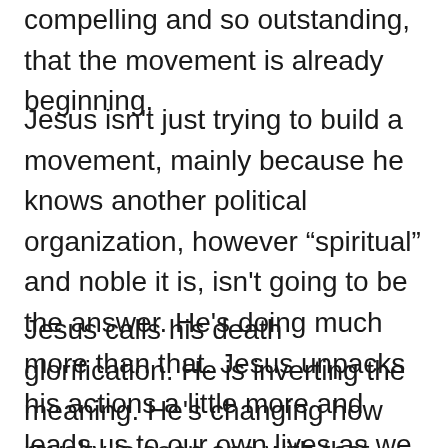compelling and so outstanding, that the movement is already beginning.
Jesus isn't just trying to build a movement, mainly because he knows another political organization, however “spiritual” and noble it is, isn't going to be the answer. He's doing much more than that. Jesus unpacks his actions a little more and leads us to our own lives as we continue to change the world.
Jesus calls his death glorification. He is inverting the meaning. He's changing how royalty is seen and with that statement he changes the whole world. It’s not necessarily a novel idea in literature and then also really for someone that has read